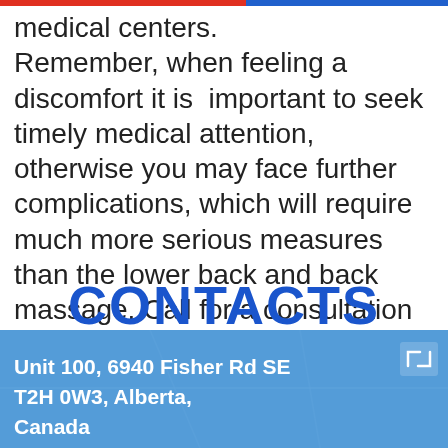medical centers. Remember, when feeling a discomfort it is important to seek timely medical attention, otherwise you may face further complications, which will require much more serious measures than the lower back and back massage. Call for a consultation today!
CONTACTS
[Figure (map): Google Maps view showing Crossfield and Airdrie area in Alberta, Canada, with a blue overlay panel]
Unit 100, 6940 Fisher Rd SE T2H 0W3, Alberta, Canada